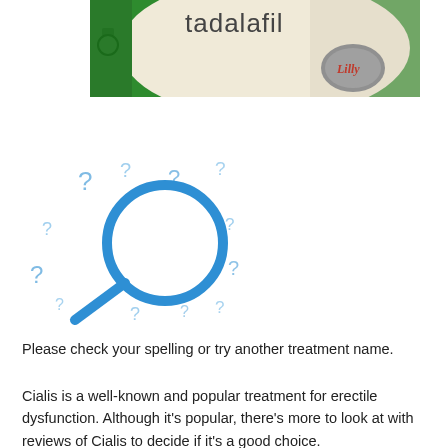[Figure (photo): Cropped image of a Cialis/tadalafil medication packaging, green box with 'tadalafil' text and Lilly logo tablet visible]
[Figure (illustration): Blue magnifying glass icon surrounded by scattered light-blue question marks on white background]
Please check your spelling or try another treatment name.
Cialis is a well-known and popular treatment for erectile dysfunction. Although it's popular, there's more to look at with reviews of Cialis to decide if it's a good choice.